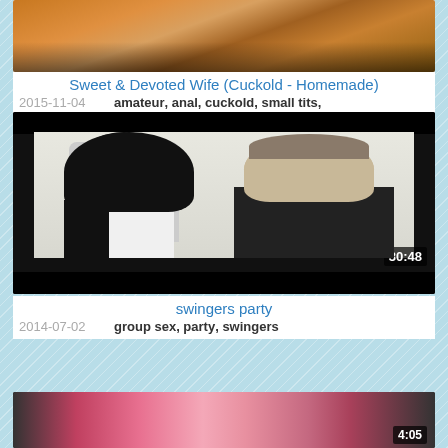[Figure (photo): Partial video thumbnail for 'Sweet & Devoted Wife (Cuckold - Homemade)' showing top portion cropped]
Sweet & Devoted Wife (Cuckold - Homemade)
2015-11-04   amateur, anal, cuckold, small tits,
[Figure (photo): Video thumbnail showing couple, duration 30:48, for 'swingers party']
swingers party
2014-07-02   group sex, party, swingers
[Figure (photo): Partial video thumbnail with duration 4:05, bottom of page, partially visible]